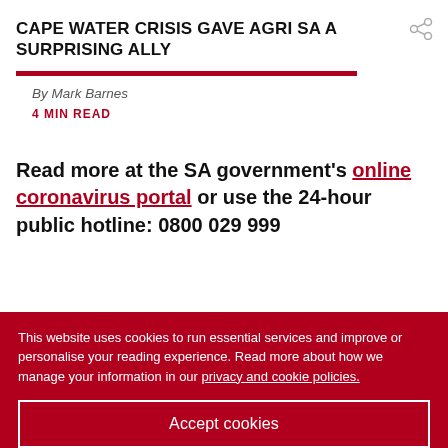CAPE WATER CRISIS GAVE AGRI SA A SURPRISING ALLY
By Mark Barnes
4 MIN READ
Read more at the SA government's online coronavirus portal or use the 24-hour public hotline: 0800 029 999
This website uses cookies to run essential services and improve or personalise your reading experience. Read more about how we manage your information in our privacy and cookie policies.
Accept cookies